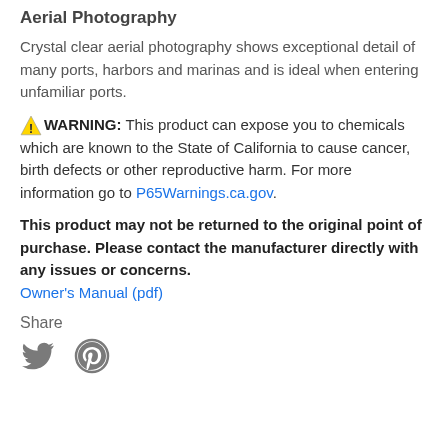Aerial Photography
Crystal clear aerial photography shows exceptional detail of many ports, harbors and marinas and is ideal when entering unfamiliar ports.
⚠ WARNING: This product can expose you to chemicals which are known to the State of California to cause cancer, birth defects or other reproductive harm. For more information go to P65Warnings.ca.gov.
This product may not be returned to the original point of purchase. Please contact the manufacturer directly with any issues or concerns. Owner's Manual (pdf)
Share